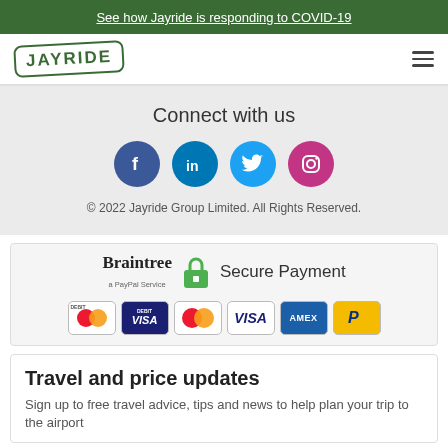See how Jayride is responding to COVID-19
[Figure (logo): Jayride logo with green border and hamburger menu icon]
Connect with us
[Figure (infographic): Social media icons: Facebook, LinkedIn, Twitter, Instagram]
© 2022 Jayride Group Limited. All Rights Reserved.
[Figure (infographic): Braintree a PayPal Service Secure Payment with lock icon and payment card logos: Debit Mastercard, Debit Visa, Mastercard, Visa, Amex, PayPal]
Travel and price updates
Sign up to free travel advice, tips and news to help plan your trip to the airport